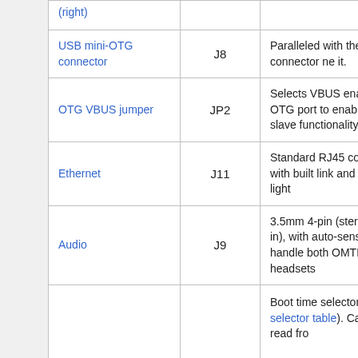| Name | Reference | Description |
| --- | --- | --- |
| (right) |  |  |
| USB mini-OTG connector | J8 | Paralleled with the full size A connector next to it. |
| OTG VBUS jumper | JP2 | Selects VBUS enable on OTG port to enable master or slave functionality |
| Ethernet | J11 | Standard RJ45 connector, with built-in link and activity lights |
| Audio | J9 | 3.5mm 4-pin (stereo + mic in), with auto-sense chip to handle both OMTP and CTIA headsets |
| Button | SW1 | Boot time selector (see boot selector table). Can also be read from... |